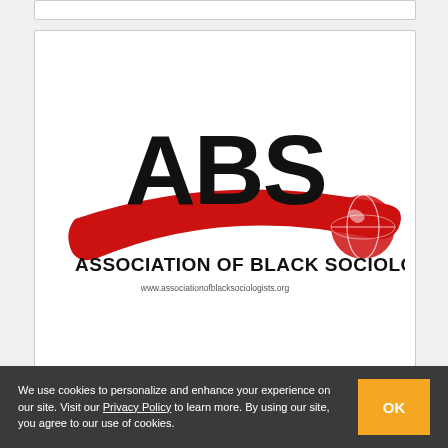[Figure (logo): ABS - Association of Black Sociologists logo. Large bold black letters 'ABS' with a red swoosh/banner behind them, and the text 'ASSOCIATION OF BLACK SOCIOLOGISTS' in bold below, with a globe graphic on the right side. Website URL shown below the text.]
We use cookies to personalize and enhance your experience on our site. Visit our Privacy Policy to learn more. By using our site, you agree to our use of cookies.